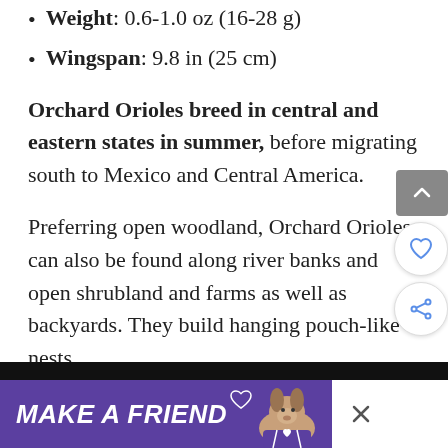Weight: 0.6-1.0 oz (16-28 g)
Wingspan: 9.8 in (25 cm)
Orchard Orioles breed in central and eastern states in summer, before migrating south to Mexico and Central America.
Preferring open woodland, Orchard Orioles can also be found along river banks and open shrubland and farms as well as backyards. They build hanging pouch-like nests.
Their diet is mostly insects such as ants, caterpillars, beetles, and grasshoppers, as well as spiders. they will also drink nectar from
[Figure (screenshot): Advertisement banner with purple background reading MAKE A FRIEND with a dog image and close button]
[Figure (screenshot): UI overlay with scroll-to-top gray button, heart/favorite button, and share button on the right side]